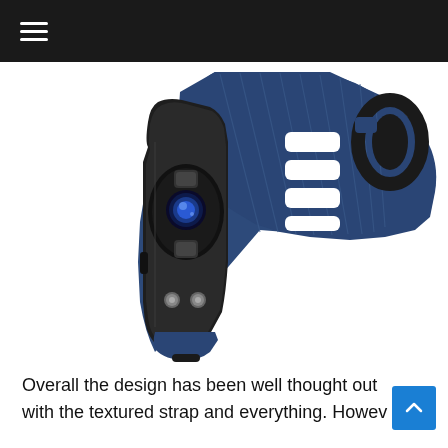≡
[Figure (photo): Close-up photo of the back of a fitness tracker/smart band showing a black body with optical heart rate sensors and two metal contact points, attached to a navy blue textured silicone strap with rectangular ventilation holes and a buckle clasp at the top.]
Overall the design has been well thought out with the textured strap and everything. Howev... h...